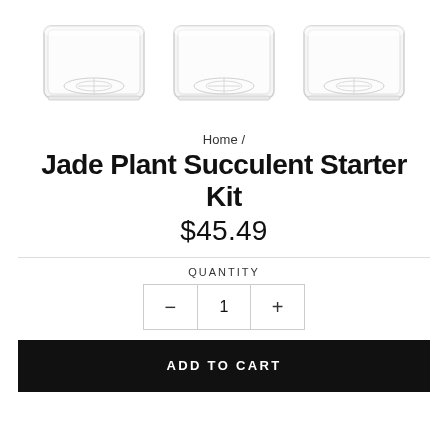[Figure (photo): Three transparent/clear square plastic succulent pots arranged in a row on white background]
Home /
Jade Plant Succulent Starter Kit
$45.49
QUANTITY
- 1 +
ADD TO CART